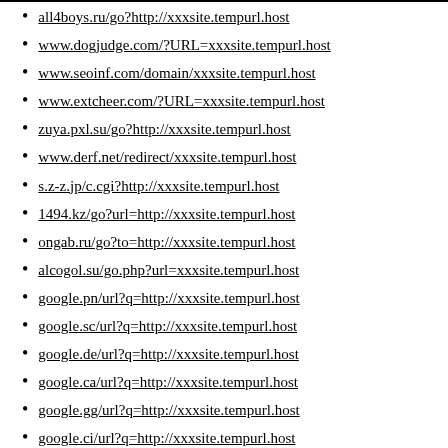all4boys.ru/go?http://xxxsite.tempurl.host
www.dogjudge.com/?URL=xxxsite.tempurl.host
www.seoinf.com/domain/xxxsite.tempurl.host
www.extcheer.com/?URL=xxxsite.tempurl.host
zuya.pxl.su/go?http://xxxsite.tempurl.host
www.derf.net/redirect/xxxsite.tempurl.host
s.z-z.jp/c.cgi?http://xxxsite.tempurl.host
1494.kz/go?url=http://xxxsite.tempurl.host
ongab.ru/go?to=http://xxxsite.tempurl.host
alcogol.su/go.php?url=xxxsite.tempurl.host
google.pn/url?q=http://xxxsite.tempurl.host
google.sc/url?q=http://xxxsite.tempurl.host
google.de/url?q=http://xxxsite.tempurl.host
google.ca/url?q=http://xxxsite.tempurl.host
google.gg/url?q=http://xxxsite.tempurl.host
google.ci/url?q=http://xxxsite.tempurl.host
google.bj/url?q=http://xxxsite.tempurl.host
yubik.net.ru/go?http://xxxsite.tempurl.host
ufoloaks.su/go/?http://xxxsite.tempurl.host